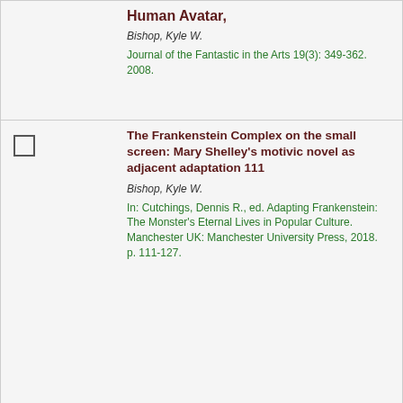Human Avatar,
Bishop, Kyle W.
Journal of the Fantastic in the Arts 19(3): 349-362. 2008.
The Frankenstein Complex on the small screen: Mary Shelley's motivic novel as adjacent adaptation 111
Bishop, Kyle W.
In: Cutchings, Dennis R., ed. Adapting Frankenstein: The Monster's Eternal Lives in Popular Culture. Manchester UK: Manchester University Press, 2018. p. 111-127.